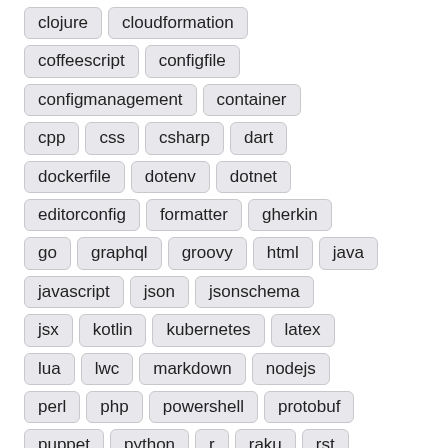clojure
cloudformation
coffeescript
configfile
configmanagement
container
cpp
css
csharp
dart
dockerfile
dotenv
dotnet
editorconfig
formatter
gherkin
go
graphql
groovy
html
java
javascript
json
jsonschema
jsx
kotlin
kubernetes
latex
lua
lwc
markdown
nodejs
perl
php
powershell
protobuf
puppet
python
r
raku
rst
ruby
rust
scala
shell
snakemake
sql
terraform